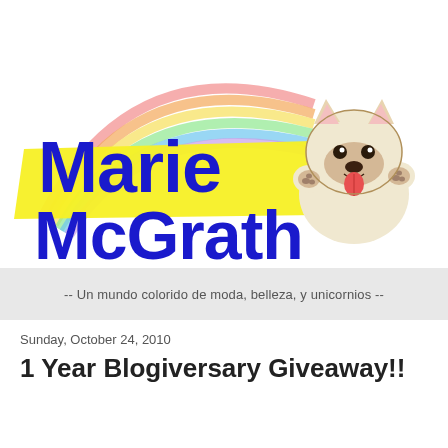[Figure (logo): Marie McGrath blog logo with rainbow background, yellow banner, blue text reading 'Marie McGrath', and a cartoon French bulldog illustration]
-- Un mundo colorido de moda, belleza, y unicornios --
Sunday, October 24, 2010
1 Year Blogiversary Giveaway!!